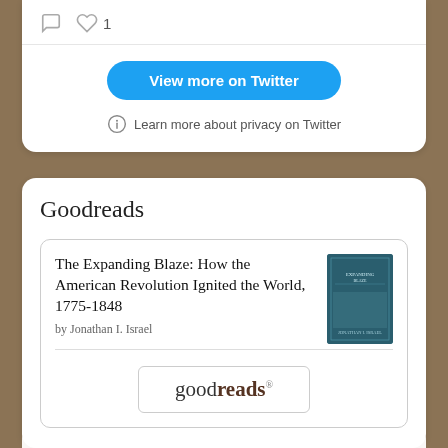[Figure (screenshot): Twitter embedded widget showing comment icon, heart icon with count 1, a blue 'View more on Twitter' button, and a privacy info link]
View more on Twitter
Learn more about privacy on Twitter
Goodreads
The Expanding Blaze: How the American Revolution Ignited the World, 1775-1848
by Jonathan I. Israel
[Figure (logo): goodreads logo button]